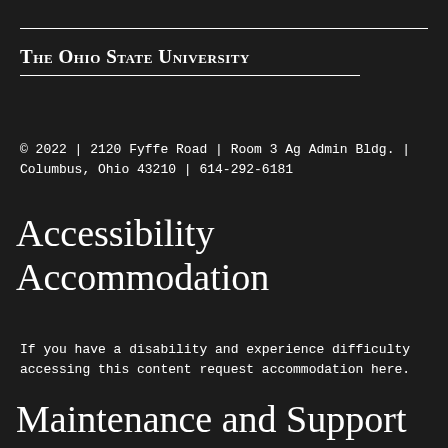The Ohio State University
© 2022 | 2120 Fyffe Road | Room 3 Ag Admin Bldg. | Columbus, Ohio 43210 | 614-292-6181
Accessibility Accommodation
If you have a disability and experience difficulty accessing this content request accommodation here.
Maintenance and Support